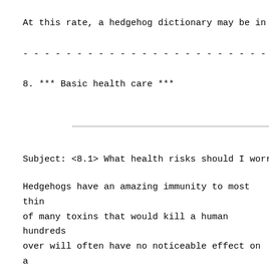At this rate, a hedgehog dictionary may be in l
- - - - - - - - - - - - - - - - - - - - - - - -
8. *** Basic health care ***
Subject: <8.1> What health risks should I worry
Hedgehogs have an amazing immunity to most thin of many toxins that would kill a human hundreds over will often have no noticeable effect on a has inspired both legends and scientific resear other than acknowledgment that it is true.